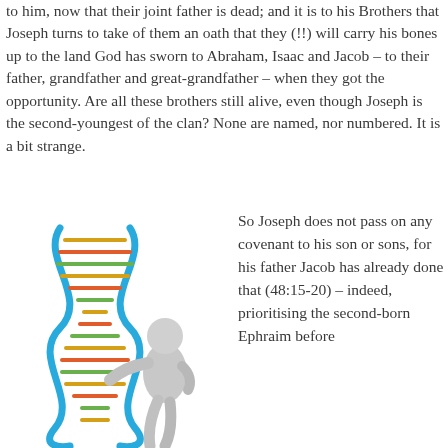to him, now that their joint father is dead; and it is to his Brothers that Joseph turns to take of them an oath that they (!!) will carry his bones up to the land God has sworn to Abraham, Isaac and Jacob – to their father, grandfather and great-grandfather – when they got the opportunity. Are all these brothers still alive, even though Joseph is the second-youngest of the clan? None are named, nor numbered. It is a bit strange.
[Figure (illustration): A 3D rendered figure of a grey humanoid character holding a colourful double helix DNA strand.]
So Joseph does not pass on any covenant to his son or sons, for his father Jacob has already done that (48:15-20) – indeed, prioritising the second-born Ephraim before